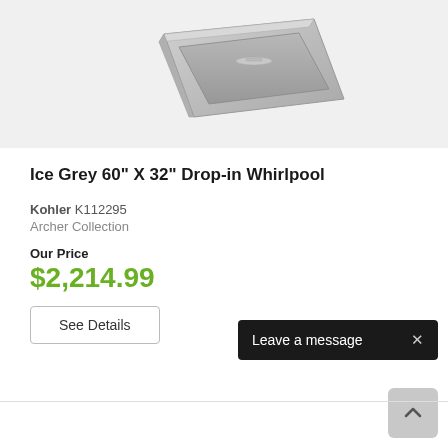[Figure (photo): Ice Grey drop-in whirlpool bathtub product photo on light grey background, top-down angled view showing rectangular tub with dark grey/silver finish]
Ice Grey 60" X 32" Drop-in Whirlpool
Kohler K112295
Archer Collection
Our Price
$2,214.99
See Details
Leave a message